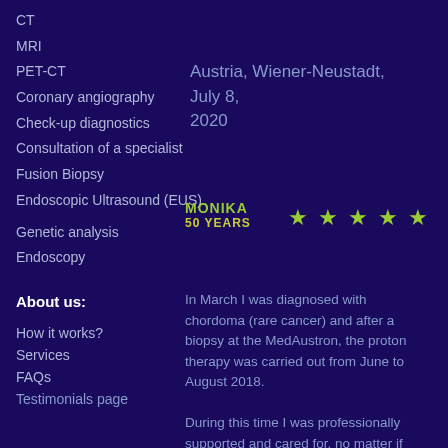CT
MRI
PET-CT
Coronary angiography
Check-up diagnostics
Consultation of a specialist
Fusion Biopsy
Endoscopic Ultrasound (EUS)
Genetic analysis
Endoscopy
About us:
How it works?
Services
FAQs
Austria, Wiener-Neustadt, July 8, 2020
MONIKA
50 YEARS
In March I was diagnosed with chordoma (rare cancer) and after a biopsy at the MedAustron, the proton therapy was carried out from June to August 2018. During this time I was professionally supported and cared for, no matter if phy... Read more